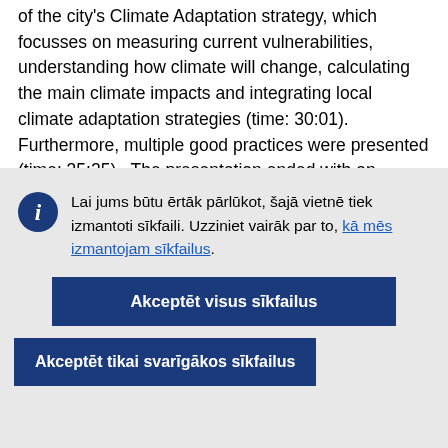of the city's Climate Adaptation strategy, which focusses on measuring current vulnerabilities, understanding how climate will change, calculating the main climate impacts and integrating local climate adaptation strategies (time: 30:01). Furthermore, multiple good practices were presented (time: 35:25).  The presentation ended with an overview of multiple organisations that can evaluate and
Lai jums būtu ērtāk pārlūkot, šajā vietnē tiek izmantoti sīkfaili. Uzziniet vairāk par to, kā mēs izmantojam sīkfailus.
Akceptēt visus sīkfailus
Akceptēt tikai svarīgākos sīkfailus